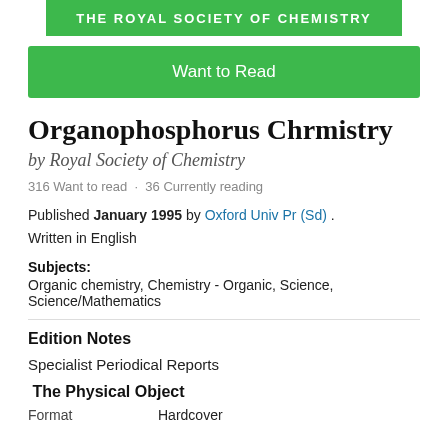[Figure (logo): The Royal Society of Chemistry green logo banner]
Want to Read
Organophosphorus Chrmistry
by Royal Society of Chemistry
316 Want to read · 36 Currently reading
Published January 1995 by Oxford Univ Pr (Sd) . Written in English
Subjects: Organic chemistry, Chemistry - Organic, Science, Science/Mathematics
Edition Notes
Specialist Periodical Reports
The Physical Object
Format   Hardcover